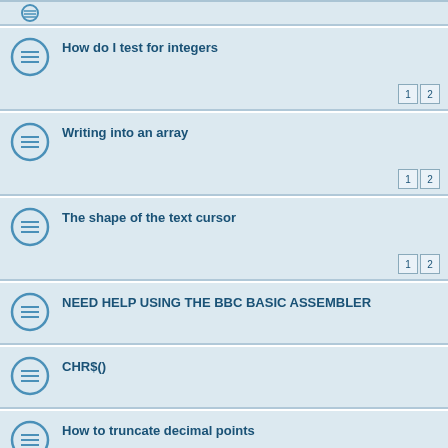How do I test for integers
Writing into an array
The shape of the text cursor
NEED HELP USING THE BBC BASIC ASSEMBLER
CHR$()
How to truncate decimal points
Global variables (Scope?)
Text UI
Listview Set Select Line
Mode 7 Not Working